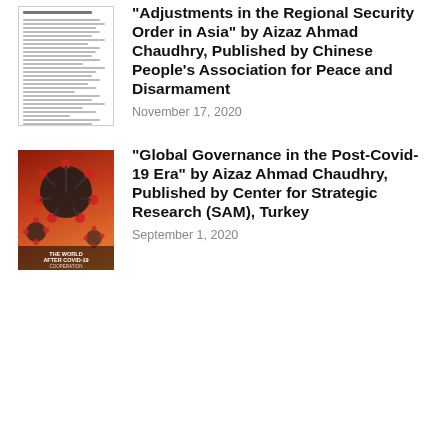[Figure (photo): Thumbnail of a document page with dense text lines]
“Adjustments in the Regional Security Order in Asia” by Aizaz Ahmad Chaudhry, Published by Chinese People’s Association for Peace and Disarmament
November 17, 2020
[Figure (photo): Book cover of 'The World After Covid-19: Cooperation or Competition?' with coronavirus particle imagery on an orange-red background]
“Global Governance in the Post-Covid-19 Era” by Aizaz Ahmad Chaudhry, Published by Center for Strategic Research (SAM), Turkey
September 1, 2020